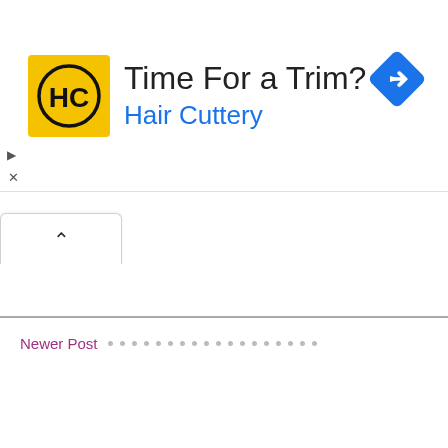[Figure (screenshot): Hair Cuttery advertisement banner with yellow HC logo, text 'Time For a Trim?' and 'Hair Cuttery' in blue, blue diamond navigation icon on right, play and close icons on left side]
[Figure (screenshot): Browser tab bar showing a single tab with a chevron/up arrow icon]
Newer Post
• • • • • • • • • • • • • • • • • •